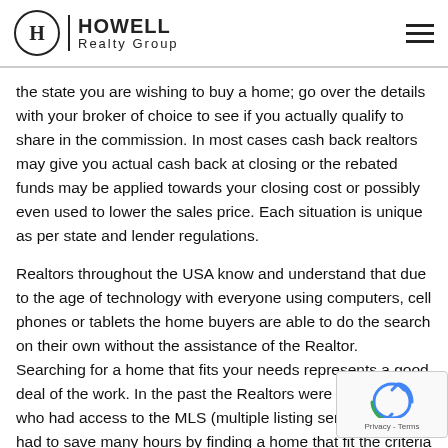[Figure (logo): Howell Realty Group logo with circle H emblem and hamburger menu icon]
the state you are wishing to buy a home; go over the details with your broker of choice to see if you actually qualify to share in the commission. In most cases cash back realtors may give you actual cash back at closing or the rebated funds may be applied towards your closing cost or possibly even used to lower the sales price. Each situation is unique as per state and lender regulations.
Realtors throughout the USA know and understand that due to the age of technology with everyone using computers, cell phones or tablets the home buyers are able to do the search on their own without the assistance of the Realtor. Searching for a home that fits your needs represents a good deal of the work. In the past the Realtors were the only ones who access to the MLS (multiple listing service) and had to many hours by finding a home that fit the criteria of th...